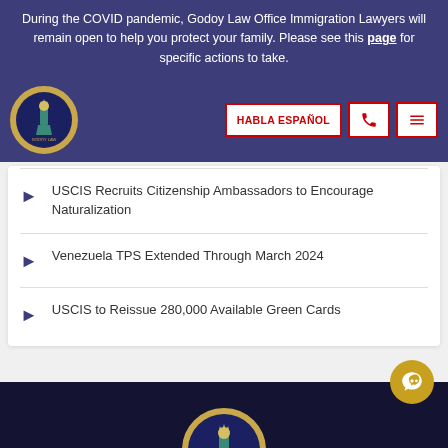During the COVID pandemic, Godoy Law Office Immigration Lawyers will remain open to help you protect your family. Please see this page for specific actions to take.
[Figure (logo): Godoy Law Office circular logo with Statue of Liberty, gold border, dark blue background]
HABLA ESPAÑOL
USCIS Recruits Citizenship Ambassadors to Encourage Naturalization
Venezuela TPS Extended Through March 2024
USCIS to Reissue 280,000 Available Green Cards
[Figure (logo): Godoy Law Office circular logo at bottom of page, gold border, dark blue background]